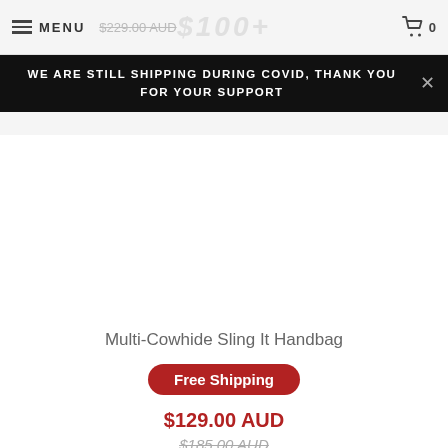MENU  $229.00 AUD  $100+  0
WE ARE STILL SHIPPING DURING COVID, THANK YOU FOR YOUR SUPPORT
[Figure (photo): Product image area - white space placeholder for Multi-Cowhide Sling It Handbag]
Multi-Cowhide Sling It Handbag
Free Shipping
$129.00 AUD
$185.00 AUD